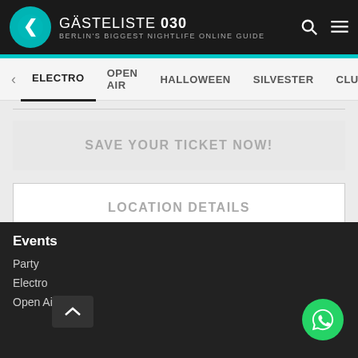GÄSTELISTE 030 BERLIN'S BIGGEST NIGHTLIFE ONLINE GUIDE
ELECTRO  OPEN AIR  HALLOWEEN  SILVESTER  CLUBS  DJS
SAVE YOUR TICKET NOW!
LOCATION DETAILS
BACK TO ELECTRO
Events
Party
Electro
Open Air